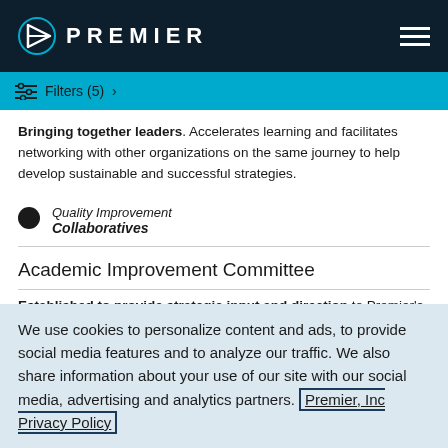PREMIER
Filters (5) >
Bringing together leaders. Accelerates learning and facilitates networking with other organizations on the same journey to help develop sustainable and successful strategies.
Quality Improvement
Collaboratives
Academic Improvement Committee
Established to provide strategic input and direction to Premier's Board of Director's on specific initiatives, products and
We use cookies to personalize content and ads, to provide social media features and to analyze our traffic. We also share information about your use of our site with our social media, advertising and analytics partners. Premier, Inc Privacy Policy